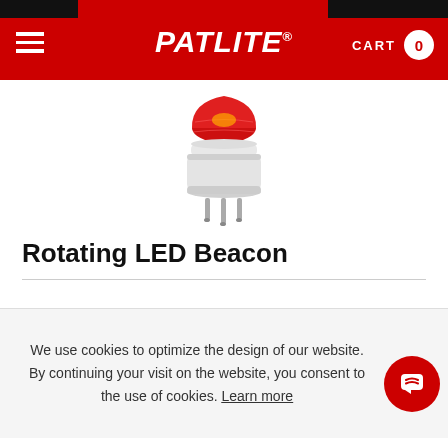PATLITE® — CART 0
[Figure (photo): Rotating LED Beacon product photo — red dome lens on white cylindrical base with mounting pins]
Rotating LED Beacon
RHEB-24-R
100 ... rotation ... 24V DC
We use cookies to optimize the design of our website. By continuing your visit on the website, you consent to the use of cookies. Learn more